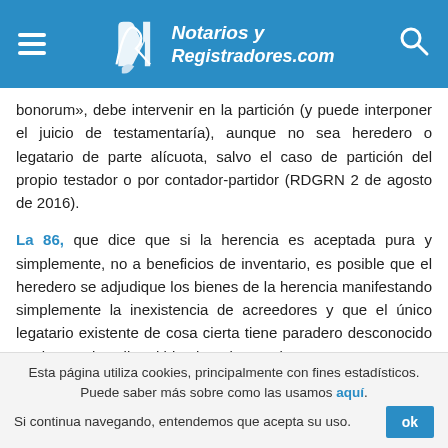Notarios y Registradores.com
bonorum», debe intervenir en la partición (y puede interponer el juicio de testamentaría), aunque no sea heredero o legatario de parte alícuota, salvo el caso de partición del propio testador o por contador-partidor (RDGRN 2 de agosto de 2016).
La 86, que dice que si la herencia es aceptada pura y simplemente, no a beneficios de inventario, es posible que el heredero se adjudique los bienes de la herencia manifestando simplemente la inexistencia de acreedores y que el único legatario existente de cosa cierta tiene paradero desconocido por lo que describe el bien legado para la
Esta página utiliza cookies, principalmente con fines estadísticos. Puede saber más sobre como las usamos aquí. Si continua navegando, entendemos que acepta su uso.